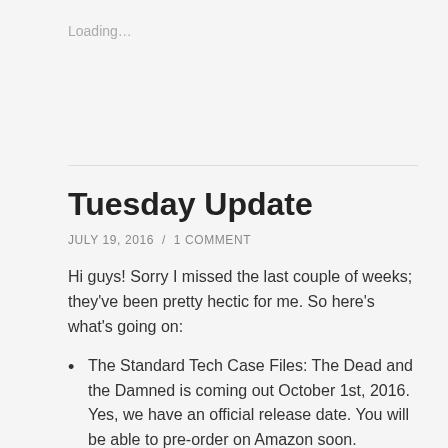Loading...
Tuesday Update
JULY 19, 2016  /  1 COMMENT
Hi guys! Sorry I missed the last couple of weeks; they've been pretty hectic for me. So here's what's going on:
The Standard Tech Case Files: The Dead and the Damned is coming out October 1st, 2016. Yes, we have an official release date. You will be able to pre-order on Amazon soon.
The short story for August is called Training Night